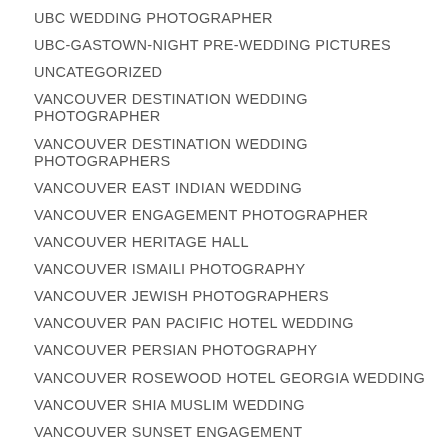UBC WEDDING PHOTOGRAPHER
UBC-GASTOWN-NIGHT PRE-WEDDING PICTURES
UNCATEGORIZED
VANCOUVER DESTINATION WEDDING PHOTOGRAPHER
VANCOUVER DESTINATION WEDDING PHOTOGRAPHERS
VANCOUVER EAST INDIAN WEDDING
VANCOUVER ENGAGEMENT PHOTOGRAPHER
VANCOUVER HERITAGE HALL
VANCOUVER ISMAILI PHOTOGRAPHY
VANCOUVER JEWISH PHOTOGRAPHERS
VANCOUVER PAN PACIFIC HOTEL WEDDING
VANCOUVER PERSIAN PHOTOGRAPHY
VANCOUVER ROSEWOOD HOTEL GEORGIA WEDDING
VANCOUVER SHIA MUSLIM WEDDING
VANCOUVER SUNSET ENGAGEMENT
VANCOUVER WATERFALL BUILDING WEDDING